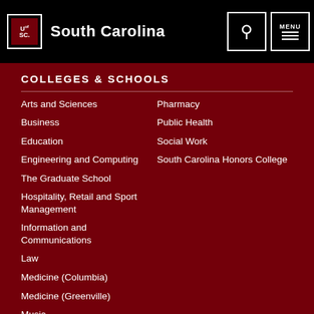South Carolina
COLLEGES & SCHOOLS
Arts and Sciences
Business
Education
Engineering and Computing
The Graduate School
Hospitality, Retail and Sport Management
Information and Communications
Law
Medicine (Columbia)
Medicine (Greenville)
Music
Nursing
Pharmacy
Public Health
Social Work
South Carolina Honors College